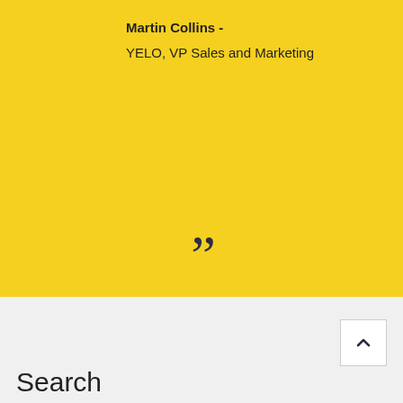Martin Collins -
YELO, VP Sales and Marketing
[Figure (illustration): Large closing quotation mark in dark navy color on yellow background]
[Figure (other): Back to top button with upward arrow chevron on light gray background]
Search